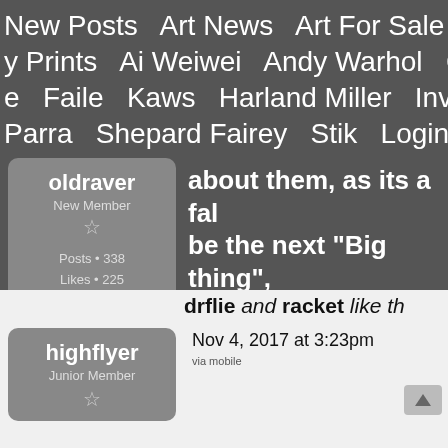New Posts   Art News   Art For Sale   Art A... y Prints   Ai Weiwei   Andy Warhol   Cleon... e   Faile   Kaws   Harland Miller   Invader... Parra   Shepard Fairey   Stik   Login   Reg...
about them, as its a fal... be the next "Big thing",... and forum gossip base... week.
drflie and racket like th...
oldraver
New Member
Posts • 338
Likes • 225
September 2017
Nov 4, 2017 at 3:23pm
via mobile
highflyer
Junior Member